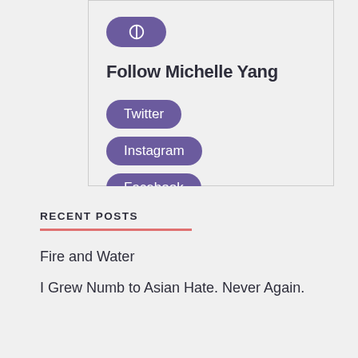[Figure (other): Purple globe icon button (pill/toggle shape with world/globe SVG icon in white)]
Follow Michelle Yang
Twitter
Instagram
Facebook
RECENT POSTS
Fire and Water
I Grew Numb to Asian Hate. Never Again.